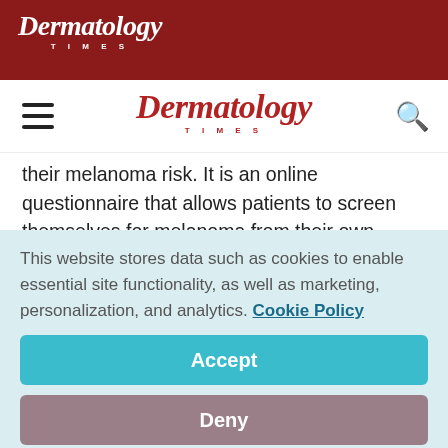Dermatology Times
Dermatology Times (nav bar)
their melanoma risk. It is an online questionnaire that allows patients to screen themselves for melanoma from their own homes via the internet (http:// http://www.cancer.gov/melanoma risktool).
"This melanoma risk assessment tool helps facilitate the identification of individuals at high risk for melanoma. It
This website stores data such as cookies to enable essential site functionality, as well as marketing, personalization, and analytics. Cookie Policy